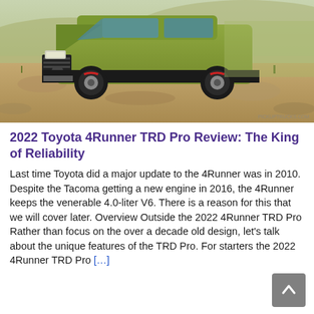[Figure (photo): A green Toyota 4Runner TRD Pro driving on a rocky/grassy hillside terrain, photographed from a low front angle. A small watermark is visible in the lower right corner of the photo.]
2022 Toyota 4Runner TRD Pro Review: The King of Reliability
Last time Toyota did a major update to the 4Runner was in 2010. Despite the Tacoma getting a new engine in 2016, the 4Runner keeps the venerable 4.0-liter V6. There is a reason for this that we will cover later. Overview Outside the 2022 4Runner TRD Pro Rather than focus on the over a decade old design, let’s talk about the unique features of the TRD Pro. For starters the 2022 4Runner TRD Pro …